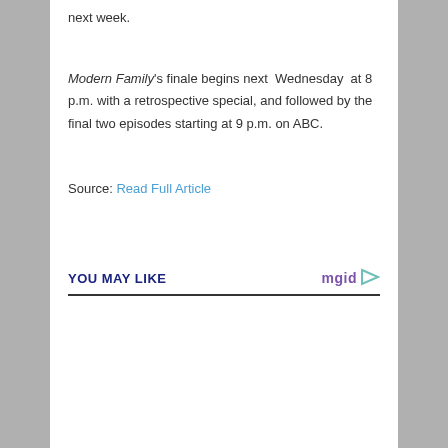next week.
Modern Family's finale begins next Wednesday at 8 p.m. with a retrospective special, and followed by the final two episodes starting at 9 p.m. on ABC.
Source: Read Full Article
YOU MAY LIKE